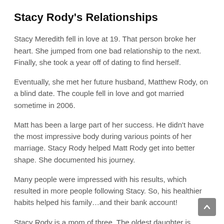Stacy Rody's Relationships
Stacy Meredith fell in love at 19. That person broke her heart. She jumped from one bad relationship to the next. Finally, she took a year off of dating to find herself.
Eventually, she met her future husband, Matthew Rody, on a blind date. The couple fell in love and got married sometime in 2006.
Matt has been a large part of her success. He didn't have the most impressive body during various points of her marriage. Stacy Rody helped Matt Rody get into better shape. She documented his journey.
Many people were impressed with his results, which resulted in more people following Stacy. So, his healthier habits helped his family…and their bank account!
Stacy Rody is a mom of three. The oldest daughter is entering